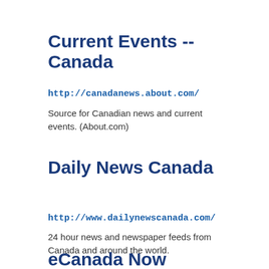Current Events -- Canada
http://canadanews.about.com/
Source for Canadian news and current events. (About.com)
Daily News Canada
http://www.dailynewscanada.com/
24 hour news and newspaper feeds from Canada and around the world.
eCanada Now